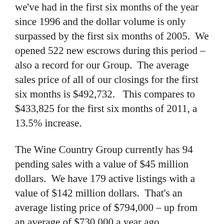we've had in the first six months of the year since 1996 and the dollar volume is only surpassed by the first six months of 2005. We opened 522 new escrows during this period – also a record for our Group. The average sales price of all of our closings for the first six months is $492,732. This compares to $433,825 for the first six months of 2011, a 13.5% increase.
The Wine Country Group currently has 94 pending sales with a value of $45 million dollars. We have 179 active listings with a value of $142 million dollars. That's an average listing price of $794,000 – up from an average of $730,000 a year ago.
The Wine Country Group currently enjoys number one market share (in either (or both) units and dollar volume) in our Cloverdale, Healdsburg, and